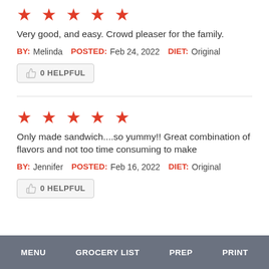★★★★★
Very good, and easy. Crowd pleaser for the family.
BY: Melinda  POSTED: Feb 24, 2022  DIET: Original
👍 0 HELPFUL
★★★★★
Only made sandwich....so yummy!! Great combination of flavors and not too time consuming to make
BY: Jennifer  POSTED: Feb 16, 2022  DIET: Original
👍 0 HELPFUL
MENU   GROCERY LIST   PREP   PRINT